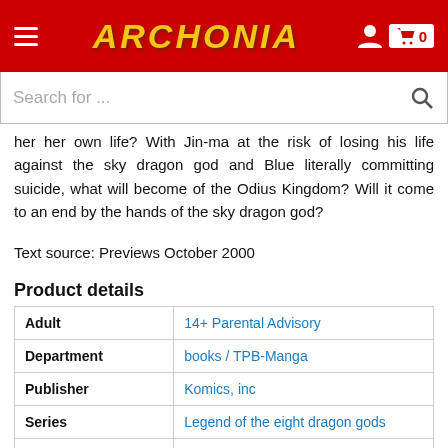ARCHONIA
her her own life? With Jin-ma at the risk of losing his life against the sky dragon god and Blue literally committing suicide, what will become of the Odius Kingdom? Will it come to an end by the hands of the sky dragon god?
Text source: Previews October 2000
Product details
| Field | Value |
| --- | --- |
| Adult | 14+ Parental Advisory |
| Department | books / TPB-Manga |
| Publisher | Komics, inc |
| Series | Legend of the eight dragon gods |
| Shop | Manga & Anime |
| Primary language | English |
| Product Code | PRE-2000100036 |